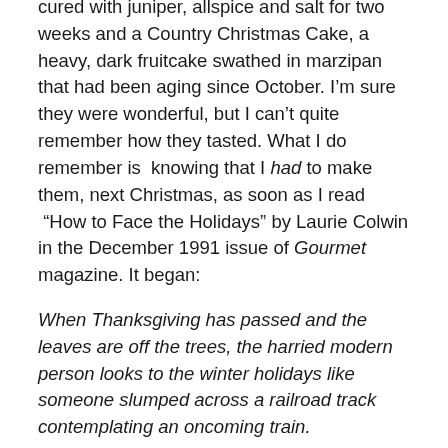cured with juniper, allspice and salt for two weeks and a Country Christmas Cake, a heavy, dark fruitcake swathed in marzipan that had been aging since October. I’m sure they were wonderful, but I can’t quite remember how they tasted. What I do remember is  knowing that I had to make them, next Christmas, as soon as I read “How to Face the Holidays” by Laurie Colwin in the December 1991 issue of Gourmet magazine. It began:
When Thanksgiving has passed and the leaves are off the trees, the harried modern person looks to the winter holidays like someone slumped across a railroad track contemplating an oncoming train.
She has found two splendid things to eat that can be made long in advance. “There is nothing else like them. They must be made by hand. And they cannot be bought.”